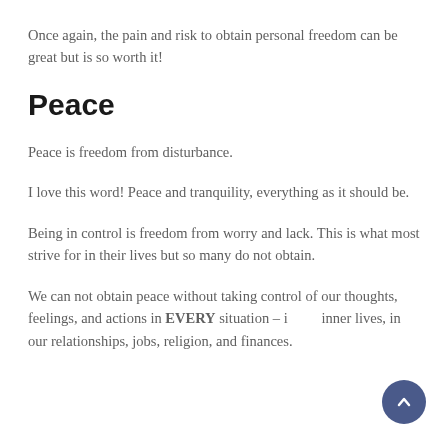Once again, the pain and risk to obtain personal freedom can be great but is so worth it!
Peace
Peace is freedom from disturbance.
I love this word! Peace and tranquility, everything as it should be.
Being in control is freedom from worry and lack. This is what most strive for in their lives but so many do not obtain.
We can not obtain peace without taking control of our thoughts, feelings, and actions in EVERY situation – i... inner lives, in our relationships, jobs, religion, and finances.